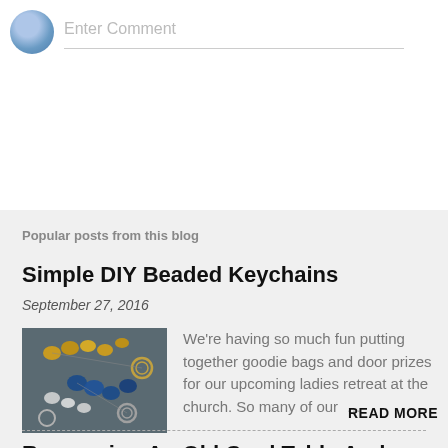[Figure (illustration): User avatar (blue/grey circular icon) next to an 'Enter Comment' text input field with a bottom border line]
Popular posts from this blog
Simple DIY Beaded Keychains
September 27, 2016
[Figure (photo): Photo of colorful beaded keychains with gold and blue beads arranged on a dark grey surface]
We're having so much fun putting together goodie bags and door prizes for our upcoming ladies retreat at the church. So many of our …
READ MORE
Recovering An Old Card Table And Making It Usable Again